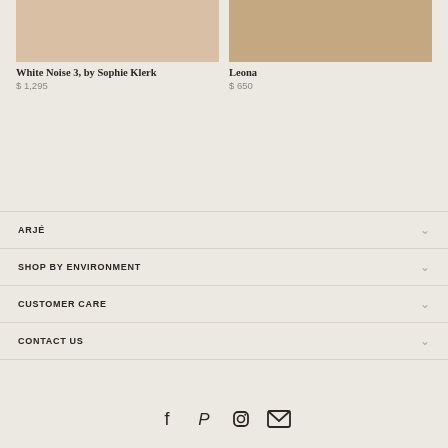[Figure (photo): Two product color swatch images side by side — left is a light peachy-beige tone, right is a medium tan/caramel tone]
White Noise 3, by Sophie Klerk
$ 1,295
Leona
$ 650
ARJÉ
SHOP BY ENVIRONMENT
CUSTOMER CARE
CONTACT US
[Figure (other): Social media icons row: Facebook, Pinterest, Instagram, Email]